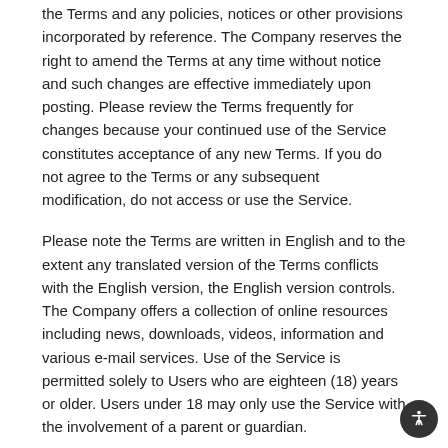the Terms and any policies, notices or other provisions incorporated by reference. The Company reserves the right to amend the Terms at any time without notice and such changes are effective immediately upon posting. Please review the Terms frequently for changes because your continued use of the Service constitutes acceptance of any new Terms. If you do not agree to the Terms or any subsequent modification, do not access or use the Service.
Please note the Terms are written in English and to the extent any translated version of the Terms conflicts with the English version, the English version controls.
The Company offers a collection of online resources including news, downloads, videos, information and various e-mail services. Use of the Service is permitted solely to Users who are eighteen (18) years or older. Users under 18 may only use the Service with the involvement of a parent or guardian.
Use of Services
The Service is controlled and operated from its facilities in the United States. The Company makes no representation that the